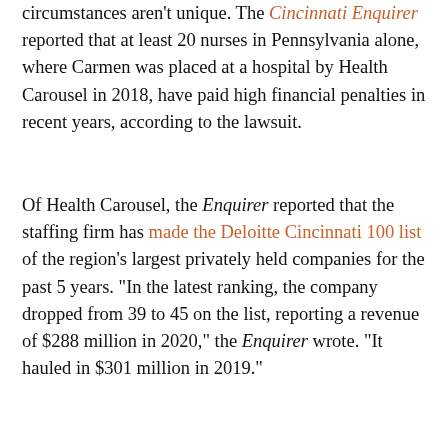circumstances aren't unique. The Cincinnati Enquirer reported that at least 20 nurses in Pennsylvania alone, where Carmen was placed at a hospital by Health Carousel in 2018, have paid high financial penalties in recent years, according to the lawsuit.
Of Health Carousel, the Enquirer reported that the staffing firm has made the Deloitte Cincinnati 100 list of the region's largest privately held companies for the past 5 years. "In the latest ranking, the company dropped from 39 to 45 on the list, reporting a revenue of $288 million in 2020," the Enquirer wrote. "It hauled in $301 million in 2019."
Legal counsel for Carmen, Flores, and Amistoso did not immediately provide additional comment on the case.
A spokesperson for Health Carousel, which has denied the allegations against it in court documents, told MedPage Today in an email that, "Unfortunately, we